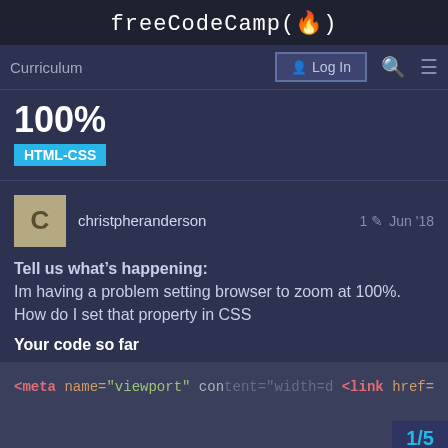freeCodeCamp(🔥)
Curriculum
Log In
100%
HTML-CSS
christpheranderson  1 ✏  Jun '18
Tell us what's happening:
Im having a problem setting browser to zoom at 100%. How do I set that property in CSS
Your code so far
[Figure (screenshot): Code block showing HTML with meta viewport tag and link href to fonts, partially cut off]
1/5